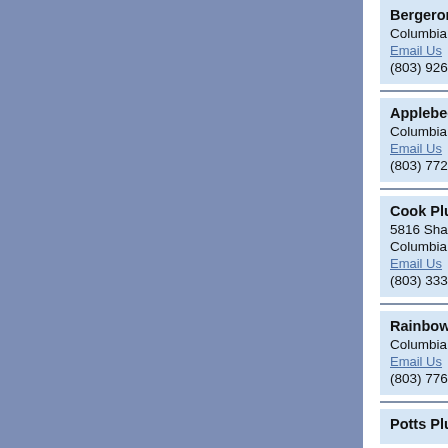Bergeron Plumbing
Columbia, SC
Email Us
(803) 926-8700
Applebee-Church Inc-Chromalox
Columbia, SC
Email Us
(803) 772-3142
Cook Plumbing CO
5816 Shakespeare Road
Columbia, SC
Email Us
(803) 333-0821
Rainbow Plumbing
Columbia, SC
Email Us
(803) 776-6336
Potts Plumbing